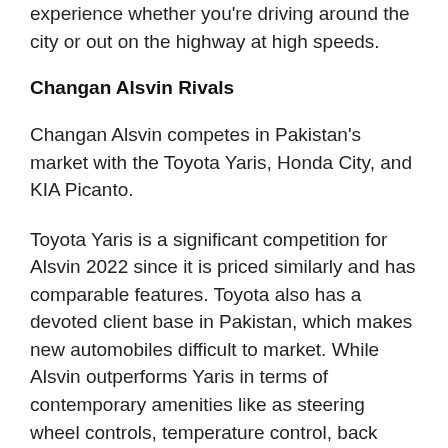experience whether you're driving around the city or out on the highway at high speeds.
Changan Alsvin Rivals
Changan Alsvin competes in Pakistan's market with the Toyota Yaris, Honda City, and KIA Picanto.
Toyota Yaris is a significant competition for Alsvin 2022 since it is priced similarly and has comparable features. Toyota also has a devoted client base in Pakistan, which makes new automobiles difficult to market. While Alsvin outperforms Yaris in terms of contemporary amenities like as steering wheel controls, temperature control, back camera,